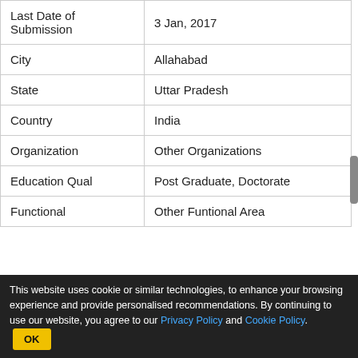| Last Date of Submission | 3 Jan, 2017 |
| City | Allahabad |
| State | Uttar Pradesh |
| Country | India |
| Organization | Other Organizations |
| Education Qual | Post Graduate, Doctorate |
| Functional | Other Funtional Area |
[Figure (other): Advertisement banner: illustration of sleeping person, title 'Clear Signs of Tardive Dyskinesia Most People May Not Realize', source 'Tardive Dyskinesia | Search Ad']
This website uses cookie or similar technologies, to enhance your browsing experience and provide personalised recommendations. By continuing to use our website, you agree to our Privacy Policy and Cookie Policy. OK